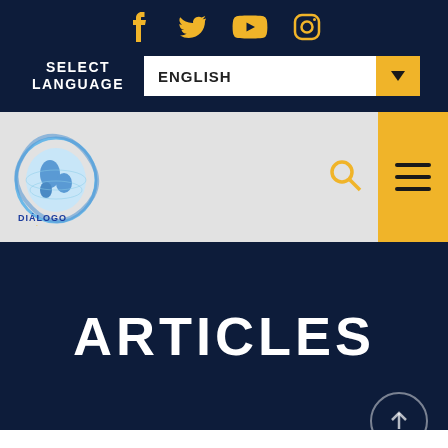[Figure (screenshot): Social media icons: Facebook, Twitter, YouTube, Instagram in gold/yellow color on dark navy background]
SELECT LANGUAGE
ENGLISH
[Figure (logo): Diálogo Américas logo with globe and swirl design, text DIÁLOGO in blue and AMÉRICAS in gold]
ARTICLES